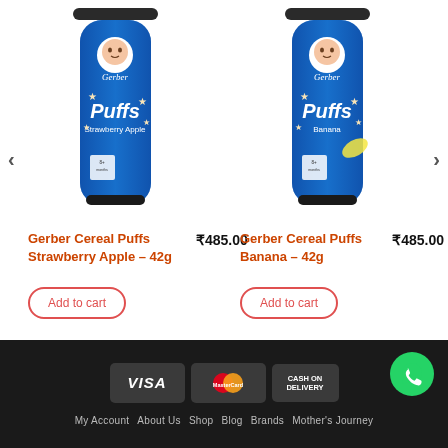[Figure (photo): Gerber Cereal Puffs Strawberry Apple 42g product bottle]
[Figure (photo): Gerber Cereal Puffs Banana 42g product bottle]
Gerber Cereal Puffs Strawberry Apple – 42g
₹485.00
Add to cart
Gerber Cereal Puffs Banana – 42g
₹485.00
Add to cart
My Account  About Us  Shop  Blog  Brands  Mother's Journey